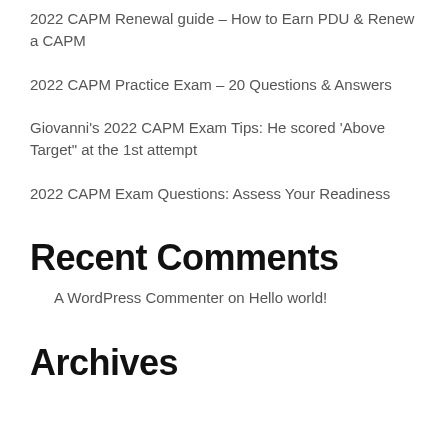2022 CAPM Renewal guide – How to Earn PDU & Renew a CAPM
2022 CAPM Practice Exam – 20 Questions & Answers
Giovanni's 2022 CAPM Exam Tips: He scored 'Above Target" at the 1st attempt
2022 CAPM Exam Questions: Assess Your Readiness
Recent Comments
A WordPress Commenter on Hello world!
Archives